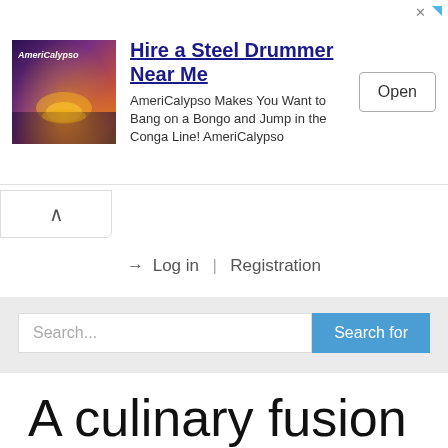[Figure (screenshot): Advertisement banner for AmeriCalypso: Hire a Steel Drummer Near Me. Includes a tropical image, ad text, and an Open button.]
Log in | Registration
Search...
A culinary fusion of St. Lucia and India